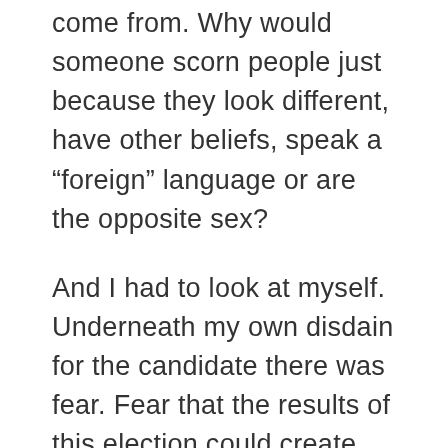come from. Why would someone scorn people just because they look different, have other beliefs, speak a “foreign” language or are the opposite sex?
And I had to look at myself. Underneath my own disdain for the candidate there was fear. Fear that the results of this election could create more derision and division in this country. That we might widen the gap between the powerful, and the powerless and fuel more hatred and violence.